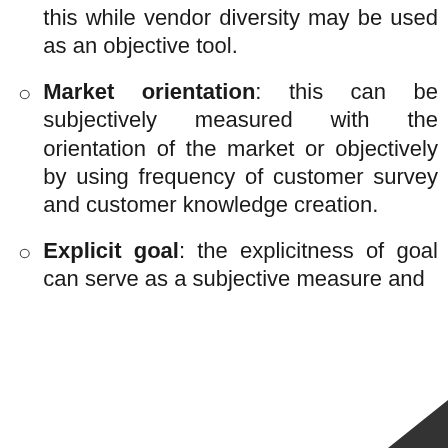this while vendor diversity may be used as an objective tool.
Market orientation: this can be subjectively measured with the orientation of the market or objectively by using frequency of customer survey and customer knowledge creation.
Explicit goal: the explicitness of goal can serve as a subjective measure and